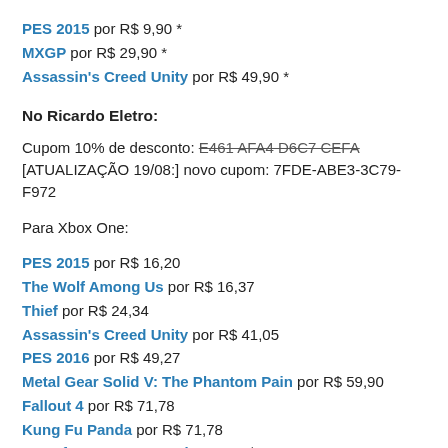PES 2015 por R$ 9,90 *
MXGP por R$ 29,90 *
Assassin's Creed Unity por R$ 49,90 *
No Ricardo Eletro:
Cupom 10% de desconto: E461 AFA4 D6C7 CEFA [ATUALIZAÇÃO 19/08:] novo cupom: 7FDE-ABE3-3C79-F972
Para Xbox One:
PES 2015 por R$ 16,20
The Wolf Among Us por R$ 16,37
Thief por R$ 24,34
Assassin's Creed Unity por R$ 41,05
PES 2016 por R$ 49,27
Metal Gear Solid V: The Phantom Pain por R$ 59,90
Fallout 4 por R$ 71,78
Kung Fu Panda por R$ 71,78
Transformers Devastation por R$ 71,91